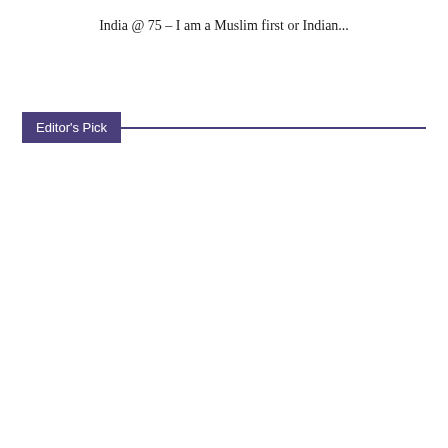India @ 75 – I am a Muslim first or Indian...
Editor's Pick